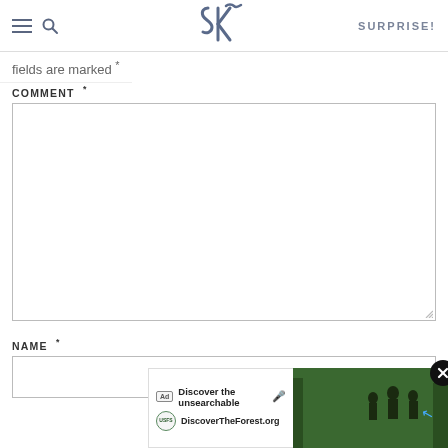SK — SURPRISE!
fields are marked *
COMMENT *
NAME *
[Figure (screenshot): Web form screenshot showing comment textarea and name input field, with an advertisement banner at bottom reading 'Discover the unsearchable — DiscoverTheForest.org' with a close button.]